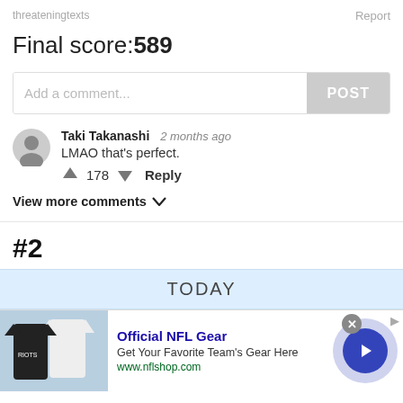threateningtexts    Report
Final score:589
Add a comment...  POST
Taki Takanashi  2 months ago
LMAO that's perfect.
↑ 178 ↓  Reply
View more comments ∨
#2
TODAY
[Figure (screenshot): Advertisement for Official NFL Gear showing NFL jerseys image on left, ad text 'Official NFL Gear / Get Your Favorite Team's Gear Here / www.nflshop.com', close button, and blue arrow navigation button on right]